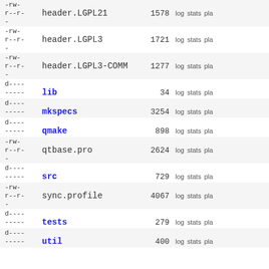| permissions | name | size | actions |
| --- | --- | --- | --- |
| -rw-
r--r-
- | header.LGPL21 | 1578 | log stats pla |
| -rw-
r--r-
- | header.LGPL3 | 1721 | log stats pla |
| -rw-
r--r-
- | header.LGPL3-COMM | 1277 | log stats pla |
| d----
----- | lib | 34 | log stats pla |
| d----
----- | mkspecs | 3254 | log stats pla |
| d----
----- | qmake | 898 | log stats pla |
| -rw-
r--r-
- | qtbase.pro | 2624 | log stats pla |
| d----
----- | src | 729 | log stats pla |
| -rw-
r--r-
- | sync.profile | 4067 | log stats pla |
| d----
----- | tests | 279 | log stats pla |
| d----
----- | util | 400 | log stats pla |